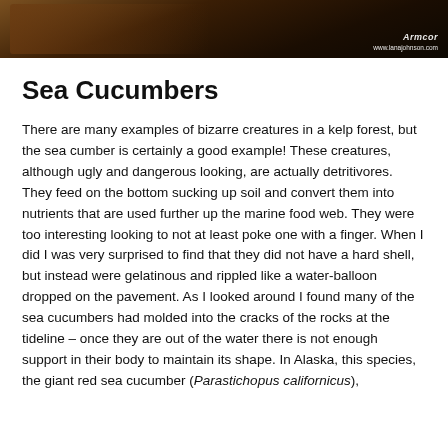[Figure (photo): Dark photo banner of sea creatures, with a watermark in the bottom right corner reading a logo and website url (lanajohnson.com)]
Sea Cucumbers
There are many examples of bizarre creatures in a kelp forest, but the sea cumber is certainly a good example! These creatures, although ugly and dangerous looking, are actually detritivores. They feed on the bottom sucking up soil and convert them into nutrients that are used further up the marine food web. They were too interesting looking to not at least poke one with a finger. When I did I was very surprised to find that they did not have a hard shell, but instead were gelatinous and rippled like a water-balloon dropped on the pavement. As I looked around I found many of the sea cucumbers had molded into the cracks of the rocks at the tideline – once they are out of the water there is not enough support in their body to maintain its shape. In Alaska, this species, the giant red sea cucumber (Parastichopus californicus),